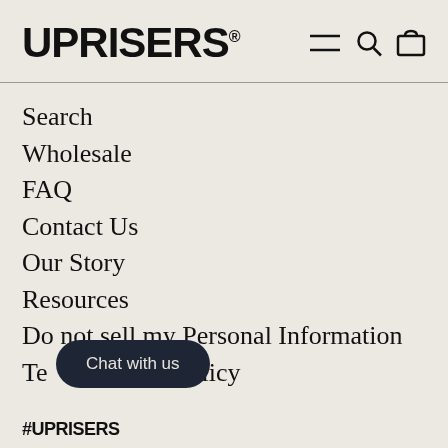UPRISERS®
Search
Wholesale
FAQ
Contact Us
Our Story
Resources
Do not sell my Personal Information
Terms / Private Policy
Chat with us
#UPRISERS